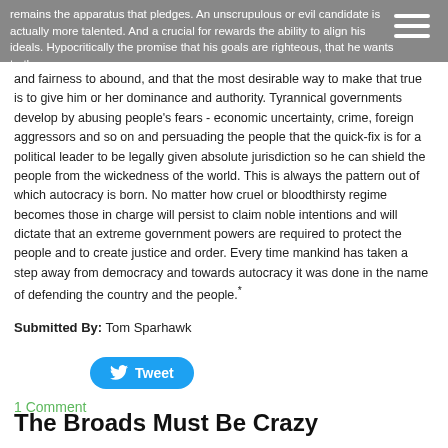remains the apparatus that pledges. An unscrupulous or evil candidate is actually more talented. And a crucial for rewards the ability to align his ideals. Hypocritically the promise that his goals are righteous, that he wants truth and fairness to abound, and that the most desirable way to make that true is to give him or her dominance and authority.
and fairness to abound, and that the most desirable way to make that true is to give him or her dominance and authority. Tyrannical governments develop by abusing people's fears - economic uncertainty, crime, foreign aggressors and so on and persuading the people that the quick-fix is for a political leader to be legally given absolute jurisdiction so he can shield the people from the wickedness of the world. This is always the pattern out of which autocracy is born. No matter how cruel or bloodthirsty regime becomes those in charge will persist to claim noble intentions and will dictate that an extreme government powers are required to protect the people and to create justice and order. Every time mankind has taken a step away from democracy and towards autocracy it was done in the name of defending the country and the people.*
Submitted By: Tom Sparhawk
[Figure (other): Twitter Tweet button]
1 Comment
The Broads Must Be Crazy